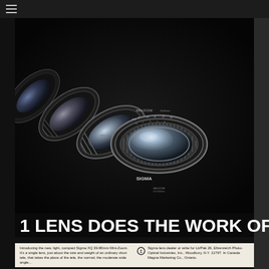[Figure (photo): Black and white photograph of multiple Sigma XQ 39-80mm Mini-Zoom camera lenses fanned out in a cascade arrangement against a black background, showing the zoom range markings and lens elements.]
1 LENS DOES THE WORK OF 4!
Introducing the new, light, compact Sigma XQ 39-80mm Mini-Zoom. It's a single lens, just about the size and weight of an ordinary short tele, that takes the place of the tele, the normal, the moderate wide angle...
Sigma lens dealer or write for Lit/Pak 26, Ehrenreich Photo-Optical Industries, Inc., Woodbury, N.Y. 11797. In Canada: Magna Marketing Co., Ontario.